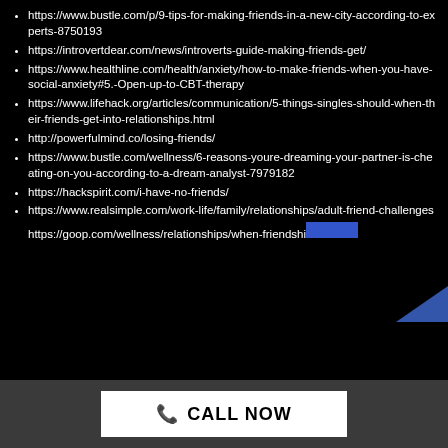https://www.bustle.com/p/9-tips-for-making-friends-in-a-new-city-according-to-experts-8750193
https://introvertdear.com/news/introverts-guide-making-friends-get/
https://www.healthline.com/health/anxiety/how-to-make-friends-when-you-have-social-anxiety#5.-Open-up-to-CBT-therapy
https://www.lifehack.org/articles/communication/5-things-singles-should-when-their-friends-get-into-relationships.html
http://powerfulmind.co/losing-friends/
https://www.bustle.com/wellness/6-reasons-youre-dreaming-your-partner-is-cheating-on-you-according-to-a-dream-analyst-7979182
https://hackspirit.com/i-have-no-friends/
https://www.realsimple.com/work-life/family/relationships/adult-friend-challenges
https://goop.com/wellness/relationships/when-friendshi…
CALL NOW